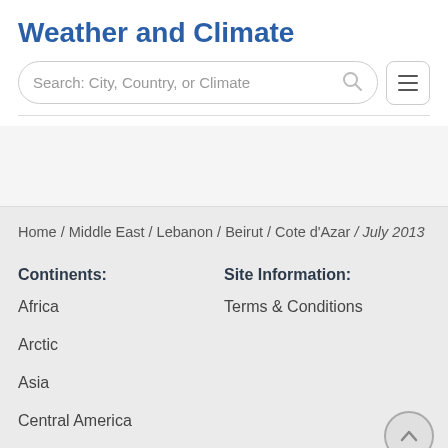Weather and Climate
Search: City, Country, or Climate
Home / Middle East / Lebanon / Beirut / Cote d'Azar / July 2013
Continents:
Site Information:
Africa
Terms & Conditions
Arctic
Asia
Central America